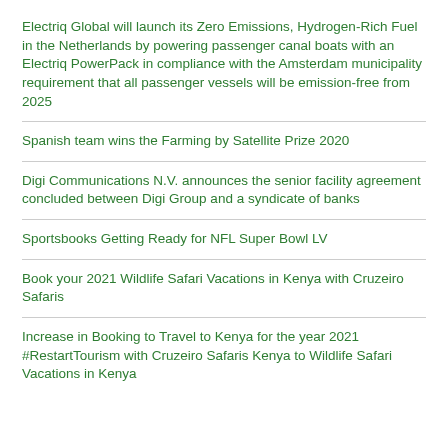Electriq Global will launch its Zero Emissions, Hydrogen-Rich Fuel in the Netherlands by powering passenger canal boats with an Electriq PowerPack in compliance with the Amsterdam municipality requirement that all passenger vessels will be emission-free from 2025
Spanish team wins the Farming by Satellite Prize 2020
Digi Communications N.V. announces the senior facility agreement concluded between Digi Group and a syndicate of banks
Sportsbooks Getting Ready for NFL Super Bowl LV
Book your 2021 Wildlife Safari Vacations in Kenya with Cruzeiro Safaris
Increase in Booking to Travel to Kenya for the year 2021 #RestartTourism with Cruzeiro Safaris Kenya to Wildlife Safari Vacations in Kenya